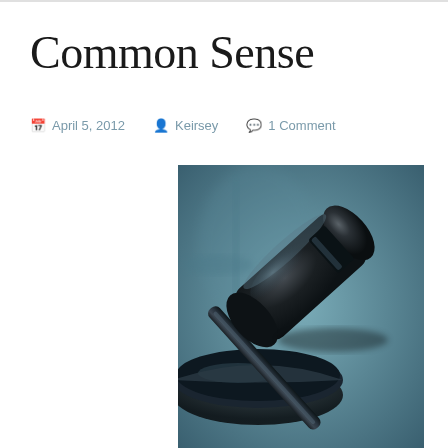Common Sense
April 5, 2012   Keirsey   1 Comment
[Figure (photo): Close-up photograph of a judge's gavel resting on a sound block, dark teal/blue toned black and white style, dramatic lighting, blurred background with scales of justice shape visible]